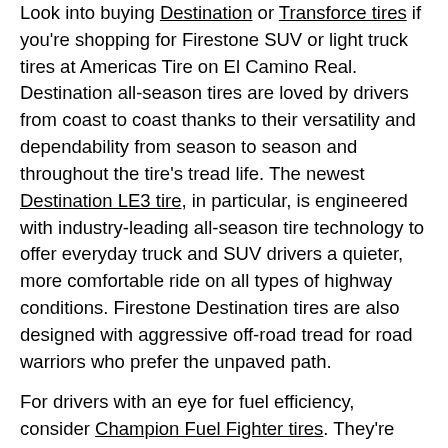Look into buying Destination or Transforce tires if you're shopping for Firestone SUV or light truck tires at Americas Tire on El Camino Real. Destination all-season tires are loved by drivers from coast to coast thanks to their versatility and dependability from season to season and throughout the tire's tread life. The newest Destination LE3 tire, in particular, is engineered with industry-leading all-season tire technology to offer everyday truck and SUV drivers a quieter, more comfortable ride on all types of highway conditions. Firestone Destination tires are also designed with aggressive off-road tread for road warriors who prefer the unpaved path.
For drivers with an eye for fuel efficiency, consider Champion Fuel Fighter tires. They're specially designed with low rolling resistance to help you achieve better fuel economy.** That's a win for road comfort, the environment, and your gas budget. Or ask your tire shop about Firestone WeatherGrip tires, created to give you control no matter the weather. For sports car drivers who crave maximum grip for confident handling, you'll want to try Firehawk tires, offering sport